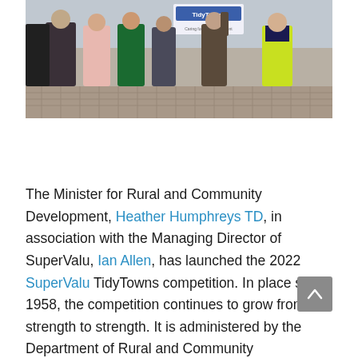[Figure (photo): Group of people standing outdoors on a cobblestone street holding a TidyTowns sign. One person on the far right is wearing a hi-visibility vest.]
The Minister for Rural and Community Development, Heather Humphreys TD, in association with the Managing Director of SuperValu, Ian Allen, has launched the 2022 SuperValu TidyTowns competition. In place since 1958, the competition continues to grow from strength to strength. It is administered by the Department of Rural and Community Development and sponsored by SuperValu.